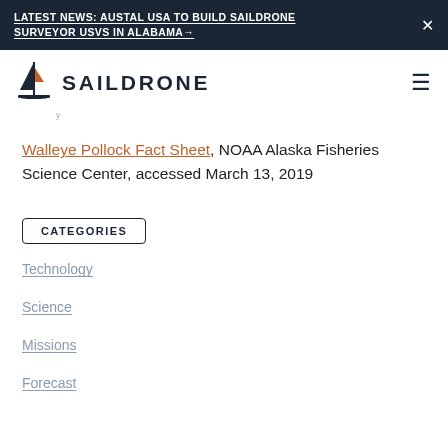LATEST NEWS: AUSTAL USA TO BUILD SAILDRONE SURVEYOR USVS IN ALABAMA→
[Figure (logo): Saildrone logo with sail icon and text SAILDRONE]
Walleye Pollock Fact Sheet, NOAA Alaska Fisheries Science Center, accessed March 13, 2019
CATEGORIES
Technology
Science
Missions
Forecast